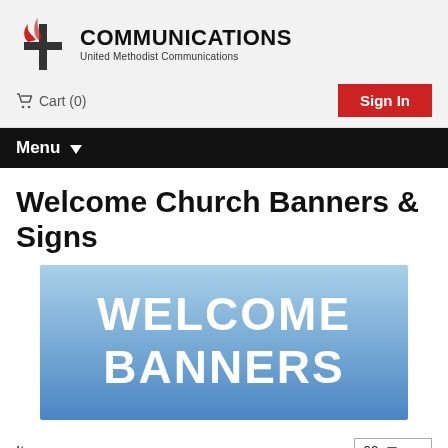COMMUNICATIONS United Methodist Communications
Cart (0)
Sign In
Menu
Welcome Church Banners & Signs
[Figure (illustration): Blue gradient banner image with bold white text reading 'WELCOME BANNERS']
Items per page: 60